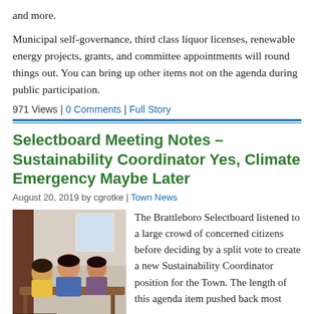and more.
Municipal self-governance, third class liquor licenses, renewable energy projects, grants, and committee appointments will round things out. You can bring up other items not on the agenda during public participation.
971 Views | 0 Comments | Full Story
Selectboard Meeting Notes – Sustainability Coordinator Yes, Climate Emergency Maybe Later
August 20, 2019 by cgrotke | Town News
[Figure (photo): Three people seated at a table during a meeting, with BRATTLEBORO watermark at bottom left.]
The Brattleboro Selectboard listened to a large crowd of concerned citizens before deciding by a split vote to create a new Sustainability Coordinator position for the Town. The length of this agenda item pushed back most